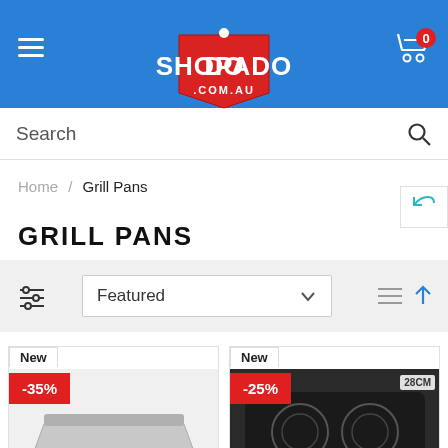SHOPADO .COM.AU
Search
Home / Grill Pans
GRILL PANS
Featured
[Figure (screenshot): Product card with New badge and -35% discount label, showing a grill pan image]
[Figure (screenshot): Product card with New badge and -25% discount label, showing a grill pan image with 28CM label]
Chat with us